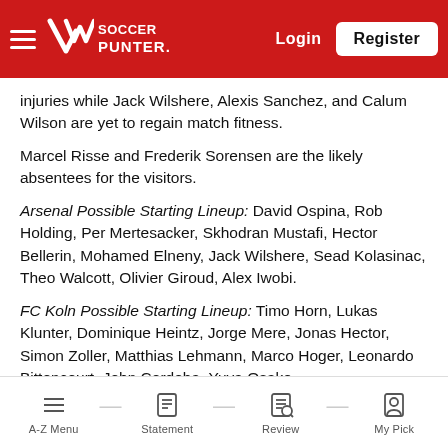Soccer Punter — Login | Register
injuries while Jack Wilshere, Alexis Sanchez, and Calum Wilson are yet to regain match fitness.
Marcel Risse and Frederik Sorensen are the likely absentees for the visitors.
Arsenal Possible Starting Lineup: David Ospina, Rob Holding, Per Mertesacker, Skhodran Mustafi, Hector Bellerin, Mohamed Elneny, Jack Wilshere, Sead Kolasinac, Theo Walcott, Olivier Giroud, Alex Iwobi.
FC Koln Possible Starting Lineup: Timo Horn, Lukas Klunter, Dominique Heintz, Jorge Mere, Jonas Hector, Simon Zoller, Matthias Lehmann, Marco Hoger, Leonardo Bittencourt, John Cordoba, Yuva Osako.
A-Z Menu — Statement — Review — My Pick